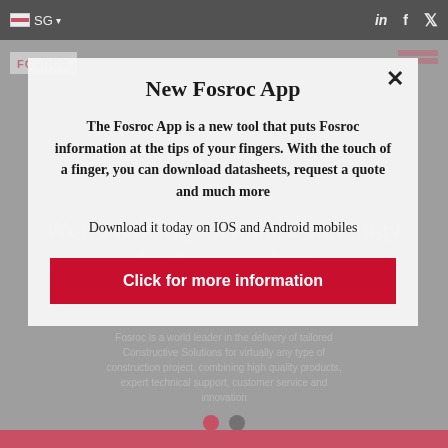[Figure (screenshot): Background of a Fosroc website with dark navigation bar showing SG flag and social media icons, gray overlay background with 'World leading thermal technology for Construction' headline and body text about Fosroc being a world leader, two dots navigation indicator, and red bottom bar.]
New Fosroc App
The Fosroc App is a new tool that puts Fosroc information at the tips of your fingers. With the touch of a finger, you can download datasheets, request a quote and much more
Download it today on IOS and Android mobiles
Click for more information